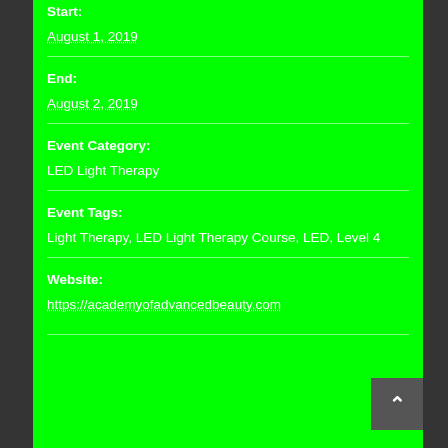Start:
August 1, 2019
End:
August 2, 2019
Event Category:
LED Light Therapy
Event Tags:
Light Therapy, LED Light Therapy Course, LED, Level 4
Website:
https://academyofadvancedbeauty.com